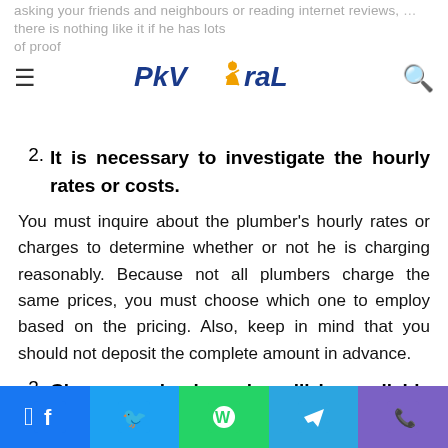PkvXral — asking your friends and neighbours or reading internet reviews, there is nothing like it if he has lots of proof
2. It is necessary to investigate the hourly rates or costs.
You must inquire about the plumber's hourly rates or charges to determine whether or not he is charging reasonably. Because not all plumbers charge the same prices, you must choose which one to employ based on the pricing. Also, keep in mind that you should not deposit the complete amount in advance.
3. Choose a plumber who will be available in an emergency.
Facebook  Twitter  WhatsApp  Telegram  Phone